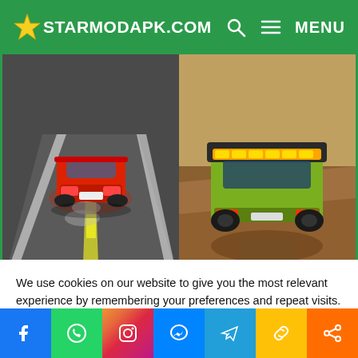STARMODAPK.COM
[Figure (screenshot): Two side-by-side mobile game screenshots: left shows a red racing car on road from rear view, right shows a yellow/green off-road vehicle on dirt terrain from rear view.]
Unlimited Money
We use cookies on our website to give you the most relevant experience by remembering your preferences and repeat visits. By clicking “Accept All”, you consent to the use of ALL the cookies. However, you may visit “Cookie Settings” to provide a controlled consent.
Cookie Settings
Accept All
Social share bar: Facebook, WhatsApp, Instagram, Messenger, Telegram, Copy, Share